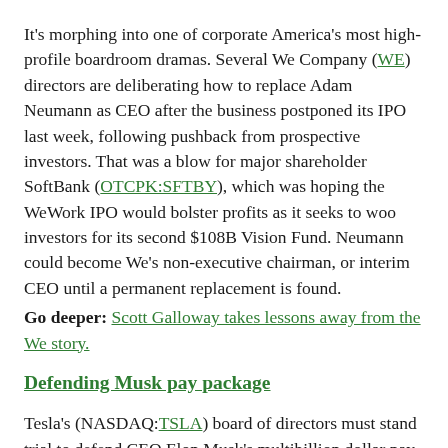It's morphing into one of corporate America's most high-profile boardroom dramas. Several We Company (WE) directors are deliberating how to replace Adam Neumann as CEO after the business postponed its IPO last week, following pushback from prospective investors. That was a blow for major shareholder SoftBank (OTCPK:SFTBY), which was hoping the WeWork IPO would bolster profits as it seeks to woo investors for its second $108B Vision Fund. Neumann could become We's non-executive chairman, or interim CEO until a permanent replacement is found.
Go deeper: Scott Galloway takes lessons away from the We story.
Defending Musk pay package
Tesla's (NASDAQ:TSLA) board of directors must stand trial to defend CEO Elon Musk's multibillion dollar pay package, according to a ruling from a Delaware judge, after a